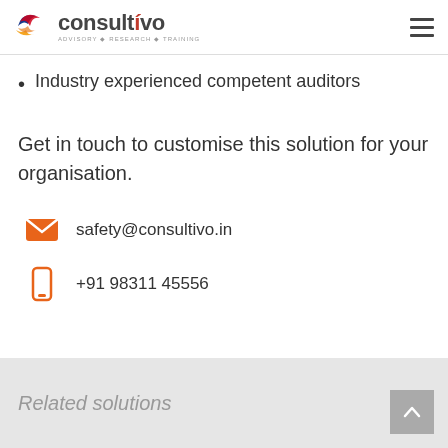consultivo ADVISORY·RESEARCH·TRAINING
Industry experienced competent auditors
Get in touch to customise this solution for your organisation.
safety@consultivo.in
+91 98311 45556
Related solutions